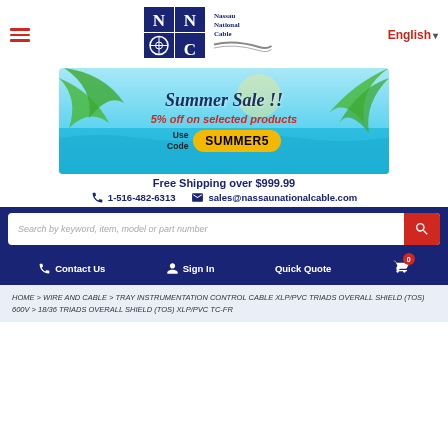[Figure (logo): Nassau National Cable logo — NN/C grid logo with cable spool, text 'Nassau National Cable']
English ▾
[Figure (photo): Summer Sale banner with tropical palm leaves, pool water background. Text: 'Summer Sale!! 5% off on selected products Use Code SUMMER5']
Free Shipping over $999.99
1-516-482-6313   sales@nassaunationalcable.com
Search by keyword, item, model or part number
Contact Us   Sign In   Quick Quote   0
HOME > WIRE AND CABLE > TRAY INSTRUMENTATION CONTROL CABLE XLP/PVC TRIADS OVERALL SHIELD (TOS) 600V > 18/36 TRIADS OVERALL SHIELD (TOS) XLP/PVC TC-FR